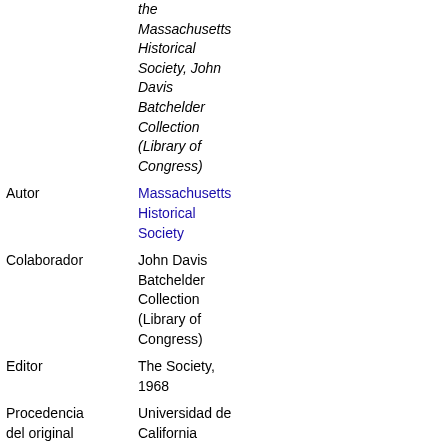| Field | Value |
| --- | --- |
|  | the Massachusetts Historical Society, John Davis Batchelder Collection (Library of Congress) |
| Autor | Massachusetts Historical Society |
| Colaborador | John Davis Batchelder Collection (Library of Congress) |
| Editor | The Society, 1968 |
| Procedencia del original | Universidad de California |
| Digitalizado | 6 Mar 2009 |